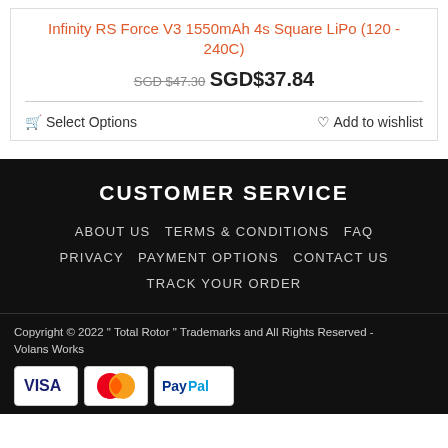Infinity RS Force V3 1550mAh 4s Square LiPo (120 - 240C)
SGD$47.30 SGD$37.84
🛒 Select Options    ♡ Add to wishlist
CUSTOMER SERVICE
ABOUT US   TERMS & CONDITIONS   FAQ   PRIVACY   PAYMENT OPTIONS   CONTACT US   TRACK YOUR ORDER
Copyright © 2022 " Total Rotor " Trademarks and All Rights Reserved - Volans Works
[Figure (logo): VISA, MasterCard, and PayPal payment icons]